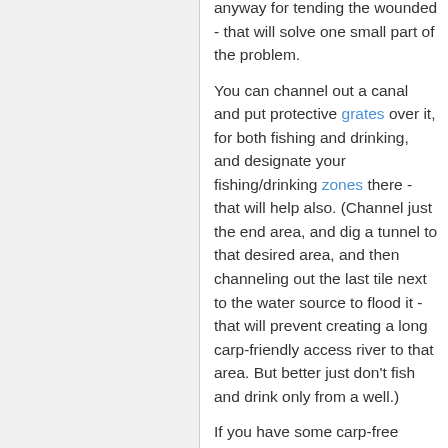anyway for tending the wounded - that will solve one small part of the problem.

You can channel out a canal and put protective grates over it, for both fishing and drinking, and designate your fishing/drinking zones there - that will help also. (Channel just the end area, and dig a tunnel to that desired area, and then channeling out the last tile next to the water source to flood it - that will prevent creating a long carp-friendly access river to that area. But better just don't fish and drink only from a well.)

If you have some carp-free water sources, you can use designations (d) then set traffic areas (o) to simply discourage your Dwarves